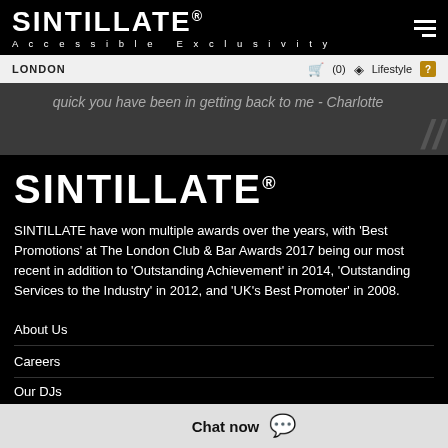SINTILLATE® Accessible Exclusivity
LONDON  (0)  Lifestyle
quick you have been in getting back to me - Charlotte
[Figure (logo): SINTILLATE logo large white bold text on black background with registered trademark symbol]
SINTILLATE have won multiple awards over the years, with 'Best Promotions' at The London Club & Bar Awards 2017 being our most recent in addition to 'Outstanding Achievement' in 2014, 'Outstanding Services to the Industry' in 2012, and 'UK's Best Promoter' in 2008.
About Us
Careers
Our DJs